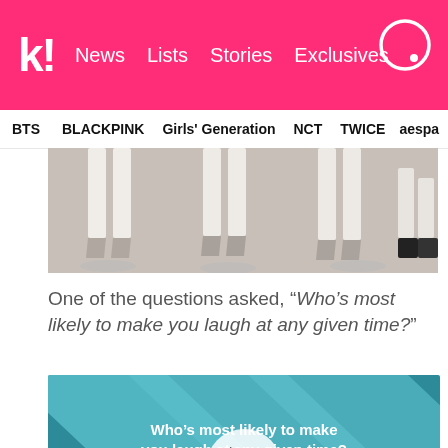k! News Lists Stories Exclusives
BTS BLACKPINK Girls' Generation NCT TWICE aespa
[Figure (photo): Photo showing legs and feet of multiple people wearing heels and white pants, standing on a light-colored floor with chair bases visible]
One of the questions asked, “Who’s most likely to make you laugh at any given time?”
[Figure (screenshot): Video thumbnail with teal and light blue diagonal stripe background. White bold text reads: Who's most likely to make you laugh at any given time? A play button (triangle) is overlaid in the center.]